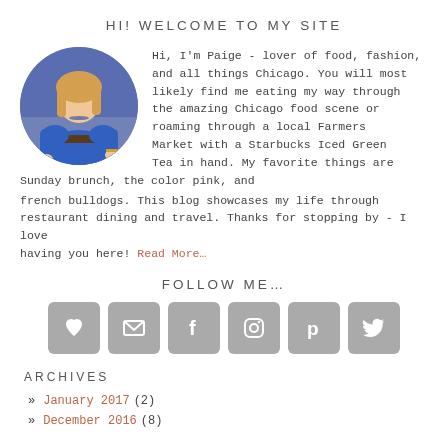HI! WELCOME TO MY SITE
Hi, I'm Paige - lover of food, fashion, and all things Chicago. You will most likely find me eating my way through the amazing Chicago food scene or roaming through a local Farmers Market with a Starbucks Iced Green Tea in hand. My favorite things are Sunday brunch, the color pink, and french bulldogs. This blog showcases my life through restaurant dining and travel. Thanks for stopping by - I love having you here! Read More...
[Figure (photo): Circular profile photo of a woman with long blonde hair wearing a blue top]
FOLLOW ME...
[Figure (infographic): Six social media icon buttons: heart/Bloglovin, email, Facebook, Instagram, Pinterest, Twitter]
ARCHIVES
» January 2017 (2)
» December 2016 (8)